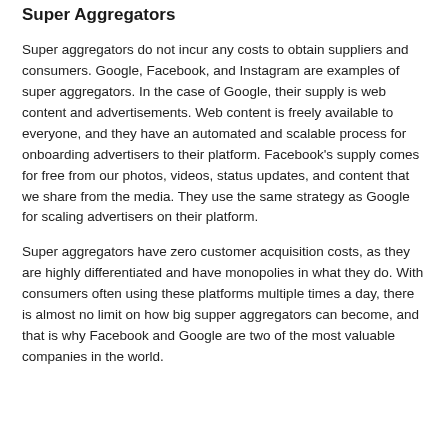Super Aggregators
Super aggregators do not incur any costs to obtain suppliers and consumers. Google, Facebook, and Instagram are examples of super aggregators. In the case of Google, their supply is web content and advertisements. Web content is freely available to everyone, and they have an automated and scalable process for onboarding advertisers to their platform. Facebook's supply comes for free from our photos, videos, status updates, and content that we share from the media. They use the same strategy as Google for scaling advertisers on their platform.
Super aggregators have zero customer acquisition costs, as they are highly differentiated and have monopolies in what they do. With consumers often using these platforms multiple times a day, there is almost no limit on how big supper aggregators can become, and that is why Facebook and Google are two of the most valuable companies in the world.